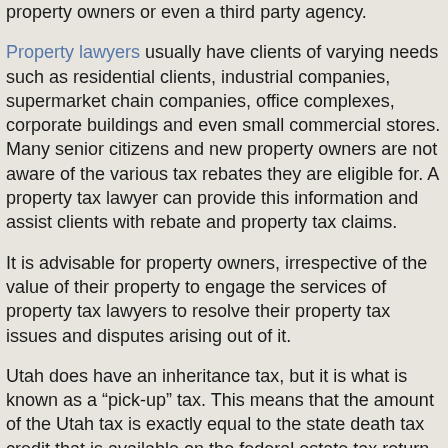property owners or even a third party agency.
Property lawyers usually have clients of varying needs such as residential clients, industrial companies, supermarket chain companies, office complexes, corporate buildings and even small commercial stores. Many senior citizens and new property owners are not aware of the various tax rebates they are eligible for. A property tax lawyer can provide this information and assist clients with rebate and property tax claims.
It is advisable for property owners, irrespective of the value of their property to engage the services of property tax lawyers to resolve their property tax issues and disputes arising out of it.
Utah does have an inheritance tax, but it is what is known as a “pick-up” tax. This means that the amount of the Utah tax is exactly equal to the state death tax credit that is available on the federal estate tax return. The result is that the total amount of federal estate tax and Utah inheritance tax is no greater than if there were no Utah inheritance tax at all. Thus, if there is no federal estate tax due, there will be no Utah inheritance tax due.
Most Utah residents do not need to worry about a state estate or inheritance tax. Utah does not have these kinds of taxes unles you have